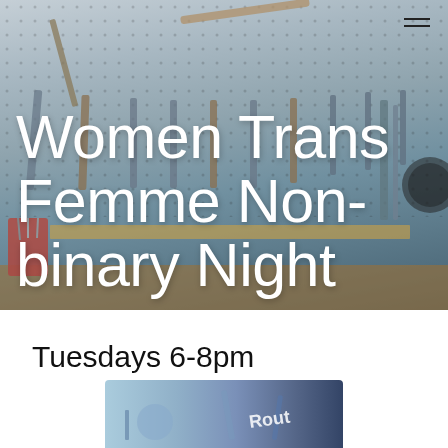[Figure (photo): Photo of a pegboard covered in tools (wrenches, hammers, pliers, screwdrivers, etc.) with a wooden shelf and workbench below. White text overlay reads 'Women Trans Femme Non-binary Night'. A hamburger menu icon is visible in the top-right corner.]
Women Trans Femme Non-binary Night
Tuesdays 6-8pm
[Figure (photo): Partial photo at the bottom of the page showing workshop/bicycle repair tools and equipment.]